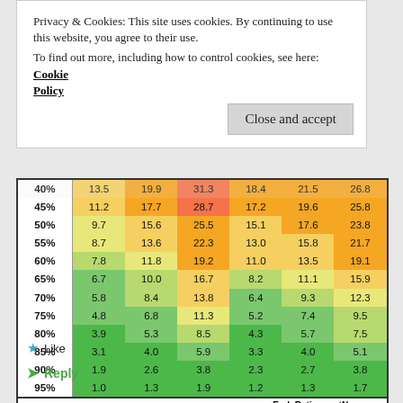Privacy & Cookies: This site uses cookies. By continuing to use this website, you agree to their use.
To find out more, including how to control cookies, see here: Cookie Policy
|  | Col1 | Col2 | Col3 | Col4 | Col5 | Col6 |
| --- | --- | --- | --- | --- | --- | --- |
| 40% | 13.5 | 19.9 | 31.3 | 18.4 | 21.5 | 26.8 |
| 45% | 11.2 | 17.7 | 28.7 | 17.2 | 19.6 | 25.8 |
| 50% | 9.7 | 15.6 | 25.5 | 15.1 | 17.6 | 23.8 |
| 55% | 8.7 | 13.6 | 22.3 | 13.0 | 15.8 | 21.7 |
| 60% | 7.8 | 11.8 | 19.2 | 11.0 | 13.5 | 19.1 |
| 65% | 6.7 | 10.0 | 16.7 | 8.2 | 11.1 | 15.9 |
| 70% | 5.8 | 8.4 | 13.8 | 6.4 | 9.3 | 12.3 |
| 75% | 4.8 | 6.8 | 11.3 | 5.2 | 7.4 | 9.5 |
| 80% | 3.9 | 5.3 | 8.5 | 4.3 | 5.7 | 7.5 |
| 85% | 3.1 | 4.0 | 5.9 | 3.3 | 4.0 | 5.1 |
| 90% | 1.9 | 2.6 | 3.8 | 2.3 | 2.7 | 3.8 |
| 95% | 1.0 | 1.3 | 1.9 | 1.2 | 1.3 | 1.7 |
EarlyRetirementNow.com
Like
Reply